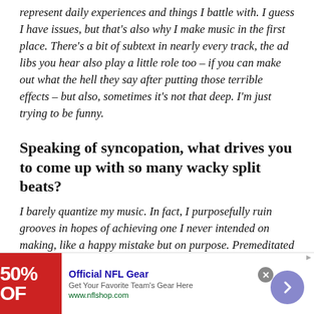represent daily experiences and things I battle with. I guess I have issues, but that's also why I make music in the first place. There's a bit of subtext in nearly every track, the ad libs you hear also play a little role too – if you can make out what the hell they say after putting those terrible effects – but also, sometimes it's not that deep. I'm just trying to be funny.
Speaking of syncopation, what drives you to come up with so many wacky split beats?
I barely quantize my music. In fact, I purposefully ruin grooves in hopes of achieving one I never intended on making, like a happy mistake but on purpose. Premeditated improv (laughs). Most beautiful things exist
[Figure (infographic): Advertisement banner for Official NFL Gear showing 50% off promotion with red background, NFL logo area, text 'Official NFL Gear', 'Get Your Favorite Team's Gear Here', 'www.nflshop.com', close button, and navigation arrow button]